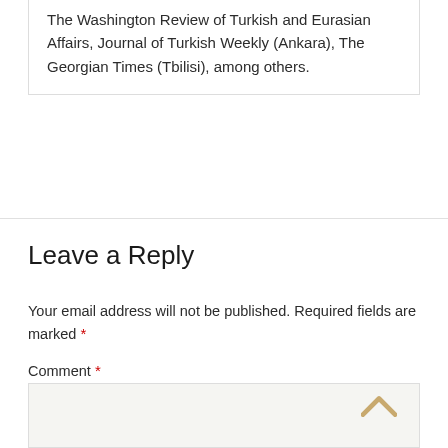The Washington Review of Turkish and Eurasian Affairs, Journal of Turkish Weekly (Ankara), The Georgian Times (Tbilisi), among others.
Leave a Reply
Your email address will not be published. Required fields are marked *
Comment *